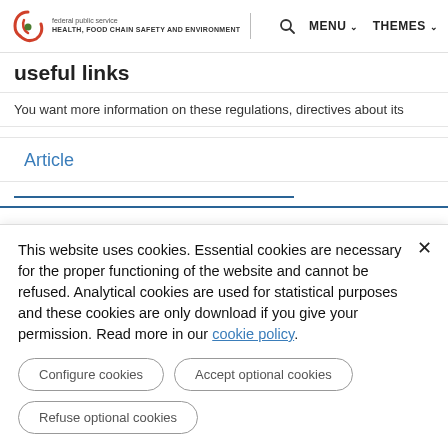Federal Public Service Health, Food Chain Safety and Environment | MENU | THEMES
useful links
You want more information on these regulations, directives about its
Article
This website uses cookies. Essential cookies are necessary for the proper functioning of the website and cannot be refused. Analytical cookies are used for statistical purposes and these cookies are only download if you give your permission. Read more in our cookie policy.
Configure cookies
Accept optional cookies
Refuse optional cookies